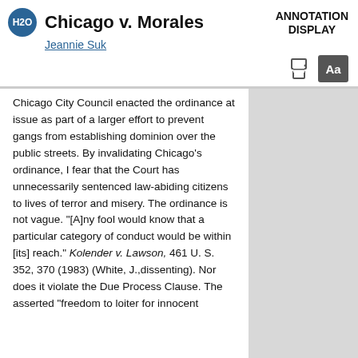Chicago v. Morales
Jeannie Suk
ANNOTATION DISPLAY
Chicago City Council enacted the ordinance at issue as part of a larger effort to prevent gangs from establishing dominion over the public streets. By invalidating Chicago's ordinance, I fear that the Court has unnecessarily sentenced law-abiding citizens to lives of terror and misery. The ordinance is not vague. "[A]ny fool would know that a particular category of conduct would be within [its] reach." Kolender v. Lawson, 461 U. S. 352, 370 (1983) (White, J.,dissenting). Nor does it violate the Due Process Clause. The asserted "freedom to loiter for innocent"